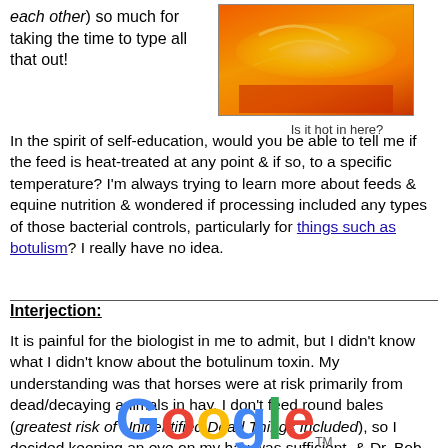each other) so much for taking the time to type all that out!
[Figure (photo): Close-up photo of a glowing orange/red heat source or furnace light]
Is it hot in here?
In the spirit of self-education, would you be able to tell me if the feed is heat-treated at any point & if so, to a specific temperature?  I'm always trying to learn more about feeds & equine nutrition & wondered if processing included any types of those bacterial controls, particularly for things such as botulism?  I really have no idea.
Interjection:
It is painful for the biologist in me to admit, but I didn't know what I didn't know about the botulinum toxin.  My understanding was that horses were at risk primarily from dead/decaying animals in hay.  I don't feed round bales (greatest risk of Unidentified Dead Things Included), so I decided keeping an eye on my hay was sufficient, & Dr. Bob said that was fine.  So I have not traditionally vaccinated for botulism.
[Figure (logo): Google logo in multicolor letters]